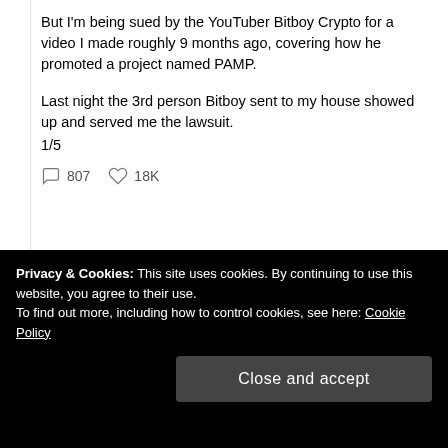But I'm being sued by the YouTuber Bitboy Crypto for a video I made roughly 9 months ago, covering how he promoted a project named PAMP.
Last night the 3rd person Bitboy sent to my house showed up and served me the lawsuit.
1/5
807  18K
Privacy & Cookies: This site uses cookies. By continuing to use this website, you agree to their use.
To find out more, including how to control cookies, see here: Cookie Policy
Close and accept